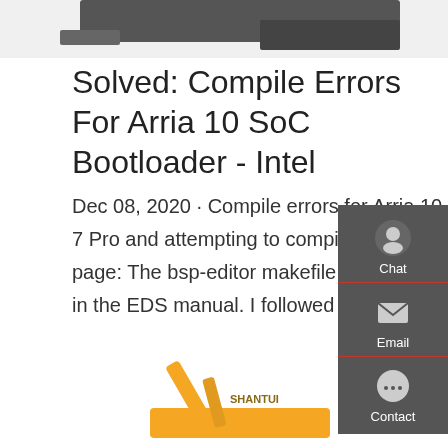[Figure (photo): Partial view of heavy machinery or equipment at the top of the page]
Solved: Compile Errors For Arria 10 SoC Bootloader - Intel
Dec 08, 2020 · Compile errors for Arria 10 SoC bootloader. I'm using Quartus 19.1 on Windows 7 Pro and attempting to compile a bootloader for Arria 10 SoC from QSPI as instructed on this page: The bsp-editor makefile also directs me to the above link. I'm using cygwin as instructed in the EDS manual. I followed all the directions including downloading the
[Figure (other): Sidebar widget with Chat, Email, and Contact icons on dark grey background]
[Figure (photo): Partial view of a yellow Shantui excavator at the bottom of the page]
Get a quote